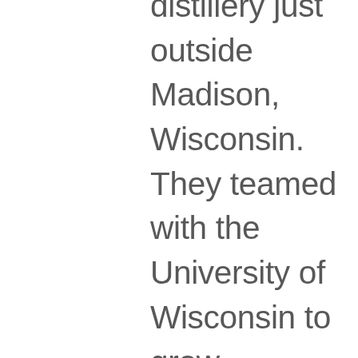distillery just outside Madison, Wisconsin. They teamed with the University of Wisconsin to grow heirloom, red corn that was originally grown on the farm in the 1940's. That attention to detail is used in every step of the process. They use Wisconsin harvested wood for the construction of their barrels, their rickhouses take advantage of our changing seasons while aging the bourbon which results in a higher loss of product but a more unique, and distinctly Wisconsin, product